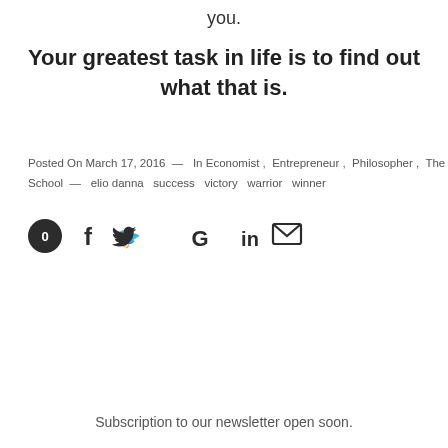you.
Your greatest task in life is to find out what that is.
Posted On March 17, 2016 — In Economist , Entrepreneur , Philosopher , The School — elio danna success victory warrior winner
[Figure (infographic): Social share icons row: share count circle (0), Facebook (f), Twitter bird, Google (G), LinkedIn (in), Email (envelope)]
Subscription to our newsletter open soon.